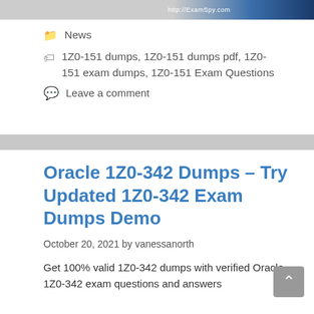[Figure (illustration): Banner image with ExamSpy.com text, partially visible decorative header with blue tones]
News
1Z0-151 dumps, 1Z0-151 dumps pdf, 1Z0-151 exam dumps, 1Z0-151 Exam Questions
Leave a comment
Oracle 1Z0-342 Dumps – Try Updated 1Z0-342 Exam Dumps Demo
October 20, 2021 by vanessanorth
Get 100% valid 1Z0-342 dumps with verified Oracle 1Z0-342 exam questions and answers